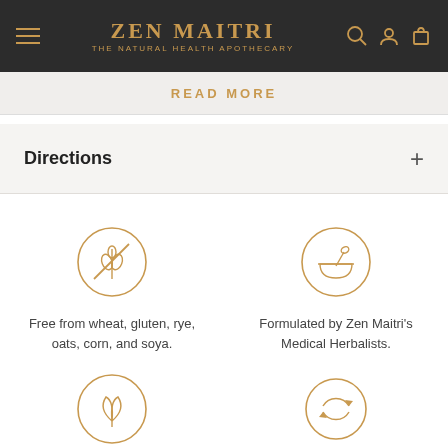ZEN MAITRI — THE NATURAL HEALTH APOTHECARY
READ MORE
Directions
[Figure (illustration): Circle icon with crossed-out wheat/gluten symbol in bronze/copper color]
Free from wheat, gluten, rye, oats, corn, and soya.
[Figure (illustration): Circle icon with mortar and pestle symbol in bronze/copper color]
Formulated by Zen Maitri's Medical Herbalists.
[Figure (illustration): Circle icon with leaf/plant symbol in bronze/copper color]
100% Natural.
[Figure (illustration): Circle icon with recycling/sustainability arrow symbol in bronze/copper color]
100% Sustainable.